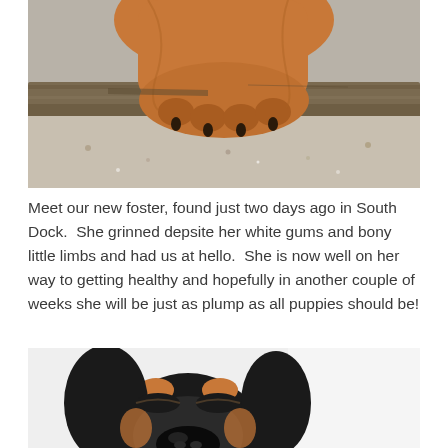[Figure (photo): Close-up photo of a dog's paw and lower leg resting on a wooden surface with sandy/gravel ground beneath, orange-brown fur visible.]
Meet our new foster, found just two days ago in South Dock.  She grinned depsite her white gums and bony little limbs and had us at hello.  She is now well on her way to getting healthy and hopefully in another couple of weeks she will be just as plump as all puppies should be!
[Figure (photo): Close-up photo of a young dog's face (black and tan, possibly a Doberman or hound mix) looking down at the camera with droopy eyes, white wall and door panel visible in background.]